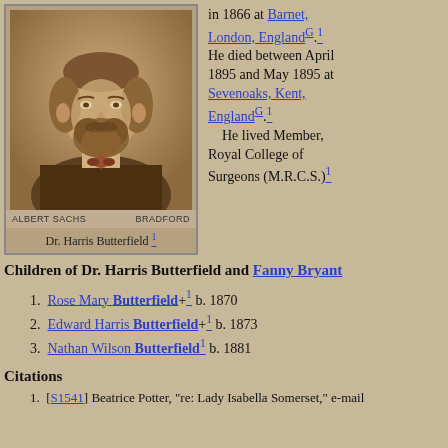[Figure (photo): Sepia portrait photograph of Dr. Harris Butterfield, a bearded man in Victorian dress, labeled 'ALBERT SACHS' and 'BRADFORD' at the bottom]
Dr. Harris Butterfield 1
in 1866 at Barnet, London, EnglandG.1 He died between April 1895 and May 1895 at Sevenoaks, Kent, EnglandG.1 He lived Member, Royal College of Surgeons (M.R.C.S.)1
Children of Dr. Harris Butterfield and Fanny Bryant
Rose Mary Butterfield+1 b. 1870
Edward Harris Butterfield+1 b. 1873
Nathan Wilson Butterfield1 b. 1881
Citations
[S1541] Beatrice Potter, "re: Lady Isabella Somerset," e-mail